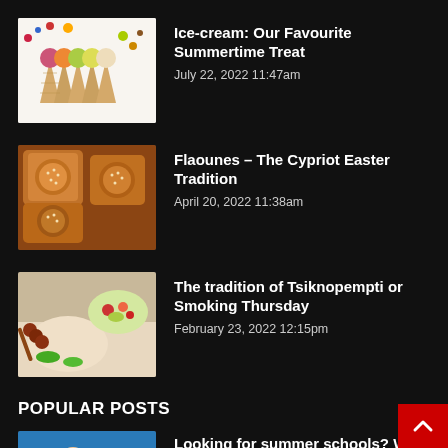[Figure (photo): Ice cream cones with colorful scoops and berries/fruits on white background]
Ice-cream: Our Favourite Summertime Treat
July 22, 2022  11:47am
[Figure (photo): Flaounes - Cypriot Easter bread pastries with sesame seeds]
Flaounes – The Cypriot Easter Tradition
April 20, 2022  11:38am
[Figure (photo): Grilled meat skewers and salad dishes on table]
The tradition of Tsiknopempti or Smoking Thursday
February 23, 2022  12:15pm
POPULAR POSTS
[Figure (photo): Child swimming in pool - summer schools]
Looking for summer schools? We got you back!